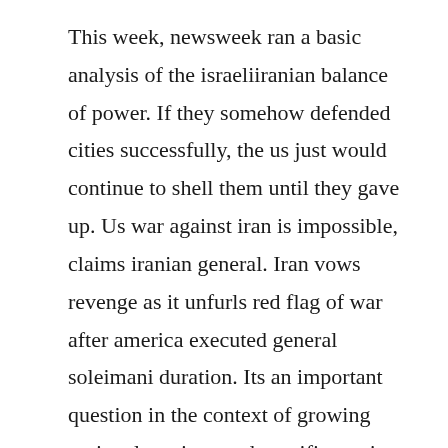This week, newsweek ran a basic analysis of the israeliiranian balance of power. If they somehow defended cities successfully, the us just would continue to shell them until they gave up. Us war against iran is impossible, claims iranian general. Iran vows revenge as it unfurls red flag of war after america executed general soleimani duration. Its an important question in the context of growing regional tensions and specific tensions between israel and iran. After the assassination of iranian general qassem soleimani, iran launched over